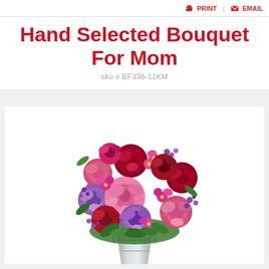PRINT  EMAIL
Hand Selected Bouquet For Mom
sku # BF336-11KM
[Figure (photo): A lush bouquet of mixed flowers including red roses, pink roses, lavender/purple roses, alstroemeria, and purple wax flowers arranged in a silver metal bucket vase. The arrangement is full and round-shaped with green foliage visible throughout.]